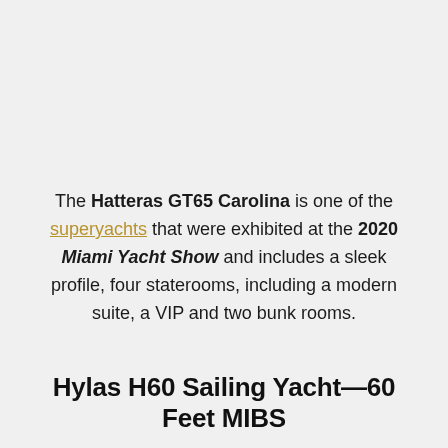The Hatteras GT65 Carolina is one of the superyachts that were exhibited at the 2020 Miami Yacht Show and includes a sleek profile, four staterooms, including a modern suite, a VIP and two bunk rooms.
Hylas H60 Sailing Yacht—60 Feet MIBS